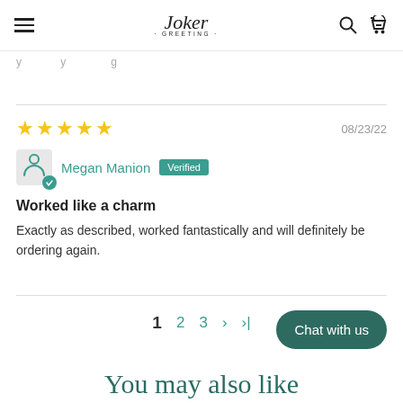Joker Greeting — navigation bar with hamburger menu, logo, search icon, cart icon
y…y g
★★★★★  08/23/22
Megan Manion  Verified
Worked like a charm
Exactly as described, worked fantastically and will definitely be ordering again.
1  2  3  ›  ›|
Chat with us
You may also like